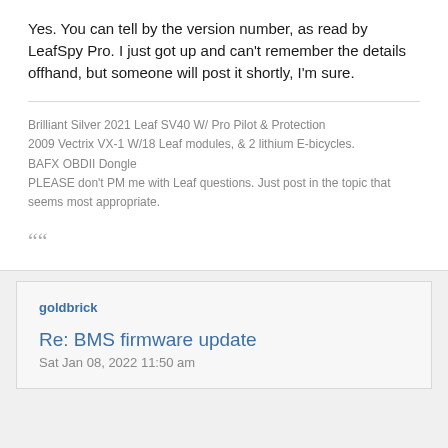Yes. You can tell by the version number, as read by LeafSpy Pro. I just got up and can't remember the details offhand, but someone will post it shortly, I'm sure.
Brilliant Silver 2021 Leaf SV40 W/ Pro Pilot & Protection
2009 Vectrix VX-1 W/18 Leaf modules, & 2 lithium E-bicycles.
BAFX OBDII Dongle
PLEASE don't PM me with Leaf questions. Just post in the topic that seems most appropriate.
““
goldbrick
Re: BMS firmware update
Sat Jan 08, 2022 11:50 am